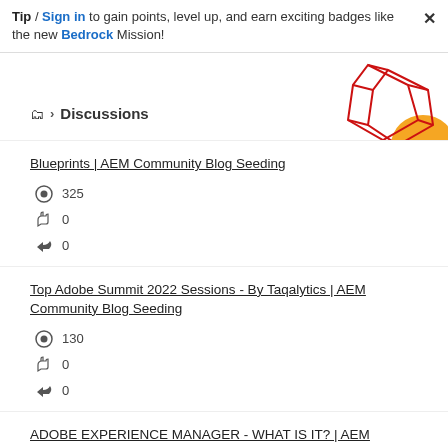Tip / Sign in to gain points, level up, and earn exciting badges like the new Bedrock Mission!
[Figure (illustration): Decorative geometric graphic with red lines forming diamond/polygon shapes and an orange circular blob in the top-right corner]
📁 > Discussions
Blueprints | AEM Community Blog Seeding
👁 325
👍 0
↩ 0
Top Adobe Summit 2022 Sessions - By Taqalytics | AEM Community Blog Seeding
👁 130
👍 0
↩ 0
ADOBE EXPERIENCE MANAGER - WHAT IS IT? | AEM Community Blog Seeding